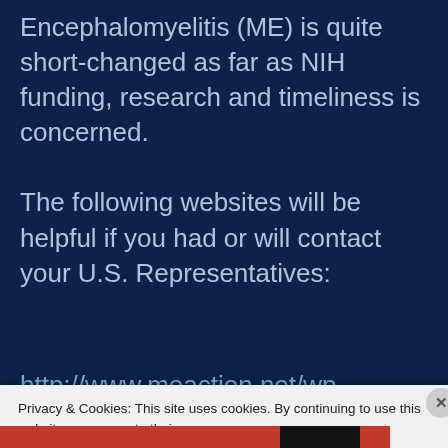Encephalomyelitis (ME) is quite short-changed as far as NIH funding, research and timeliness is concerned.
The following websites will be helpful if you had or will contact your U.S. Representatives:
http://www.meaction.net/wp-
Privacy & Cookies: This site uses cookies. By continuing to use this website, you agree to their use.
To find out more, including how to control cookies, see here: Cookie Policy
Close and accept